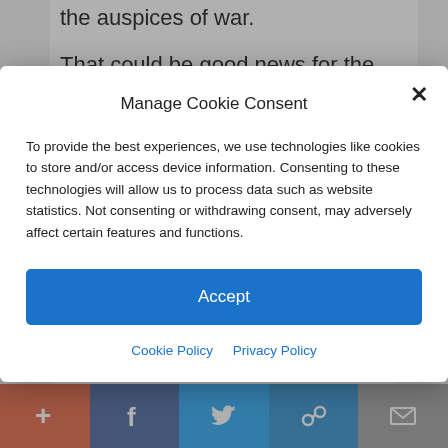the auspices of war.
That could be good news for the rest of the world because the risk of military
Manage Cookie Consent
To provide the best experiences, we use technologies like cookies to store and/or access device information. Consenting to these technologies will allow us to process data such as website statistics. Not consenting or withdrawing consent, may adversely affect certain features and functions.
Accept
Cookie Policy  Privacy Policy
Read More From Caroline Adana
+ f Twitter share mail